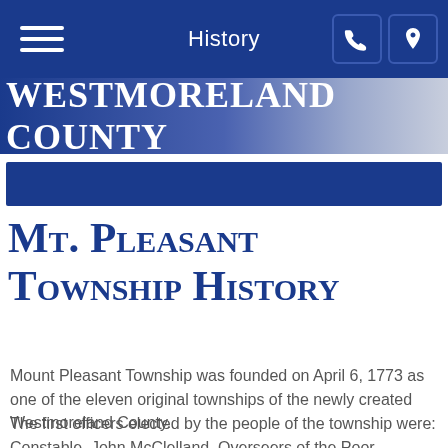History
WESTMORELAND COUNTY
Mt. Pleasant Township History
Mount Pleasant Township was founded on April 6, 1773 as one of the eleven original townships of the newly created Westmoreland County.
The first officers elected by the people of the township were: Constable, John McClelland, Overseers of the Poor, Solomon and John Sheppard and Supervisor John Scott.